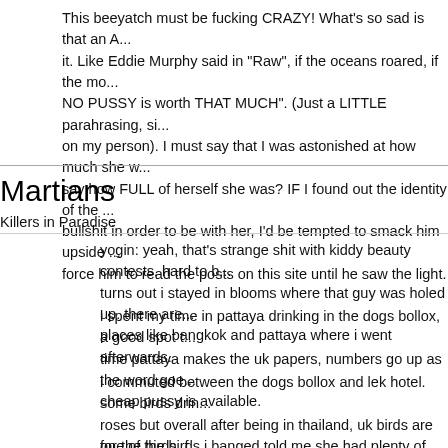This beeyatch must be fucking CRAZY! What's so sad is that an A... it. Like Eddie Murphy said in "Raw", if the oceans roared, if the mo... NO PUSSY is worth THAT MUCH". (Just a LITTLE parahrasing, si... on my person). I must say that I was astonished at how much she w... say how FULL of herself she was? IF I found out the identity of the ... bullshit in order to be with her, I'd be tempted to smack him upside ... force him to read the posts on this site until he saw the light.
Martians
Killers in Paradise
yogin: yeah, that's strange shit with kiddy beauty contests. hard to b... turns out i stayed in blooms where that guy was holed up. there are... places like bangkok and pattaya where i went afterwards.
i spent my time in pattaya drinking in the dogs bollox, a good spot t... time pattaya makes the uk papers, numbers go up as the word goe... cheap pussy is available.
i commuted between the dogs bollox and lek hotel. some birds drin... roses but overall after being in thailand, uk birds are for the birds. f... much, fucking disgusting inside and out.
one of the birds i banged told me she had plenty of lady customers...